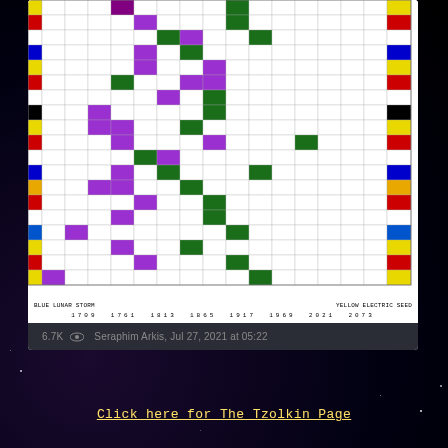[Figure (table-as-image): Tzolkin calendar grid table showing dates, with colored cells (purple, dark green, yellow, red, blue, black) arranged in a pattern. Rows have symbolic icons on left and right sides. Contains date ranges in small text.]
BLUE LUNAR STORM                    YELLOW ELECTRIC SEED
1709  1761  1813  1865  1917  1969  2021  2073
6.7K ◉  Seraphim Arkis, Jul 27, 2021 at 05:22
Click here for The Tzolkin Page